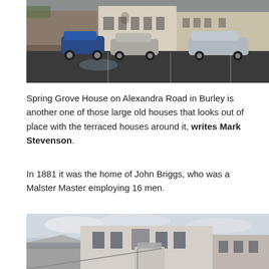[Figure (photo): Street-level photograph of Spring Grove House on Alexandra Road in Burley, showing a large pale render building with arched window, with cars parked in front on a wet tarmac car park. Buildings on surrounding terraced street visible on both sides.]
Spring Grove House on Alexandra Road in Burley is another one of those large old houses that looks out of place with the terraced houses around it, writes Mark Stevenson.
In 1881 it was the home of John Briggs, who was a Malster Master employing 16 men.
[Figure (photo): Photograph of a large pale rendered building, likely Spring Grove House, showing upper storeys against a cloudy sky with surrounding lower rooftops visible.]